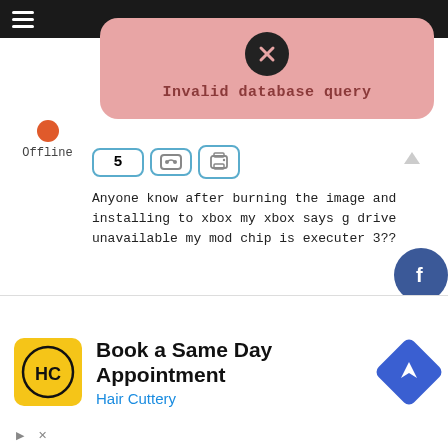[Figure (screenshot): Top navigation bar with hamburger menu icon on dark background]
[Figure (screenshot): Error popup with X close button showing 'Invalid database query' on pink/red background]
[Figure (screenshot): Offline status indicator with orange dot and 'Offline' label]
[Figure (screenshot): Post action buttons: number 5, link icon, print icon, and up-arrow]
Anyone know after burning the image and installing to xbox my xbox says g drive unavailable my mod chip is executer 3??
June 23, 2019 10:58 pm
[Figure (screenshot): Social media share icons: Facebook, Twitter, RSS]
[Figure (infographic): Advertisement: Hair Cuttery - Book a Same Day Appointment with HC logo and navigation icon]